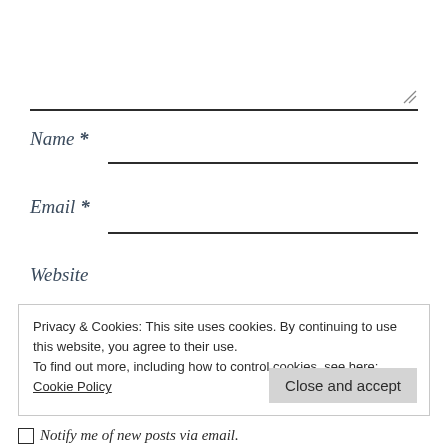[Comment textarea with resize handle]
Name *
Email *
Website
Privacy & Cookies: This site uses cookies. By continuing to use this website, you agree to their use.
To find out more, including how to control cookies, see here: Cookie Policy
Close and accept
Notify me of new posts via email.